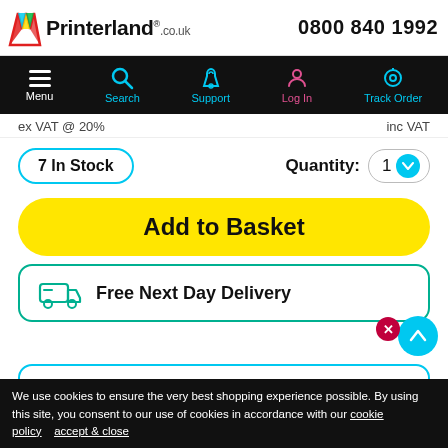Printerland.co.uk | 0800 840 1992
[Figure (screenshot): Navigation bar with Menu, Search, Support, Log In, Track Order icons on black background]
ex VAT @ 20%    inc VAT
7 In Stock    Quantity: 1
Add to Basket
Free Next Day Delivery
We use cookies to ensure the very best shopping experience possible. By using this site, you consent to our use of cookies in accordance with our cookie policy   accept & close
e Guaranteed!